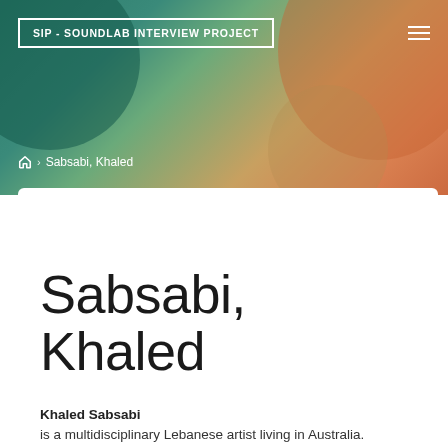SIP - SOUNDLAB INTERVIEW PROJECT
Home › Sabsabi, Khaled
Sabsabi, Khaled
Khaled Sabsabi is a multidisciplinary Lebanese artist living in Australia.